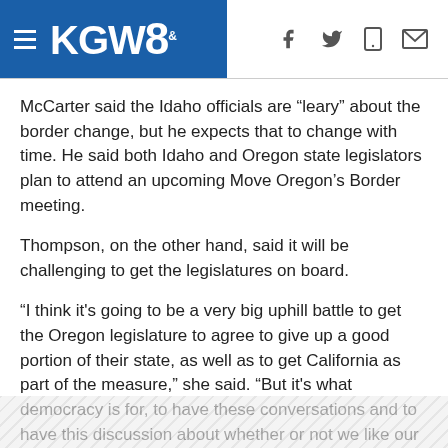KGW8
McCarter said the Idaho officials are “leary” about the border change, but he expects that to change with time. He said both Idaho and Oregon state legislators plan to attend an upcoming Move Oregon’s Border meeting.
Thompson, on the other hand, said it will be challenging to get the legislatures on board.
“I think it's going to be a very big uphill battle to get the Oregon legislature to agree to give up a good portion of their state, as well as to get California as part of the measure,” she said. “But it's what democracy is for, to have these conversations and to have this discussion about whether or not we like our government and what we want to do about it.”